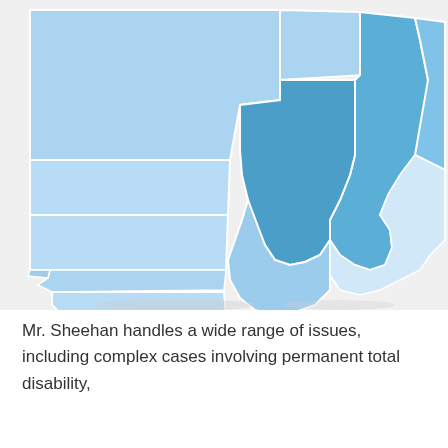[Figure (map): Choropleth map of US Midwest/South-Central region showing states (South Dakota, Nebraska, Kansas, Oklahoma, Texas, Iowa, Missouri, Illinois, Indiana, Arkansas) shaded in varying intensities of blue, with Missouri and Illinois appearing in a darker medium blue and surrounding states in lighter blue.]
Mr. Sheehan handles a wide range of issues, including complex cases involving permanent total disability, and differential injuries and Medicare Set-Aside